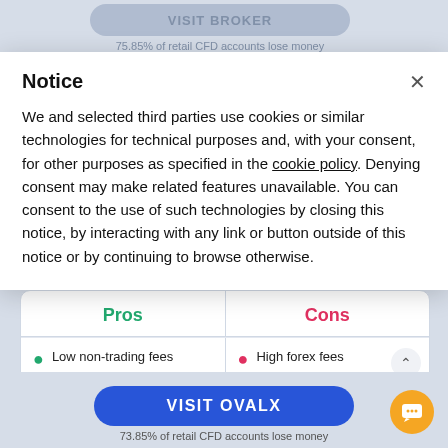Notice
We and selected third parties use cookies or similar technologies for technical purposes and, with your consent, for other purposes as specified in the cookie policy. Denying consent may make related features unavailable. You can consent to the use of such technologies by closing this notice, by interacting with any link or button outside of this notice or by continuing to browse otherwise.
| Pros | Cons |
| --- | --- |
| Low non-trading fees | High forex fees |
| Commission-free stock |  |
VISIT OVALX
73.85% of retail CFD accounts lose money